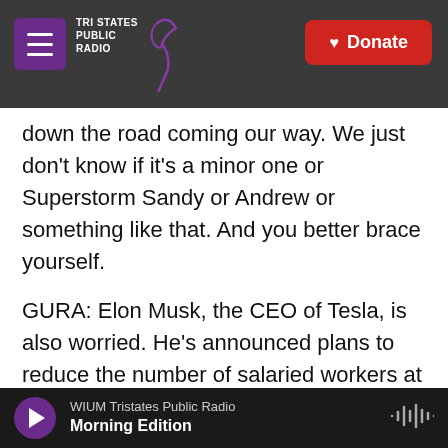Tri States Public Radio | Donate
down the road coming our way. We just don't know if it's a minor one or Superstorm Sandy or Andrew or something like that. And you better brace yourself.
GURA: Elon Musk, the CEO of Tesla, is also worried. He's announced plans to reduce the number of salaried workers at the carmaker by 10%. Predictions by chief executives carry a lot of weight. They're trying to figure out what the future holds for their businesses. And right now a growing number of them worry this period of high inflation and higher interest rates could have disastrous
WIUM Tristates Public Radio — Morning Edition